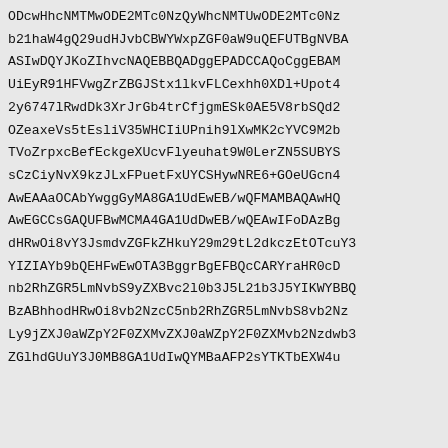ODcwHhcNMTMwODE2MTc0NzQyWhcNMTUwODE2MTc0Nz
b21haW4gQ29udHJvbCBWYWxpZGF0aW9uQEFUTBgNVBA
ASIwDQYJKoZIhvcNAQEBBQADggEPADCCAQoCggEBAM
UiEyR91HFVwgZrZBGJStx1lkvFLCexhh0XDl+Upot4
2y6747lRwdDk3XrJrGb4trCfjgmESk0AE5V8rbSQd2
OZeaxeVs5tEsliV35WHCIiUPnih9lXwMK2cYVC9M2b
TVoZrpxcBefEckgeXUcvFlyeuhat9W0LerZN5SUBYS
sCzCiyNvX9kzJLxFPuetFxUYCSHywNRE6+GOeUGcn4
AwEAAaOCAbYwggGyMA8GA1UdEwEB/wQFMAMBAQAwHQ
AwEGCCsGAQUFBwMCMA4GA1UdDwEB/wQEAwIFoDAzBg
dHRwOi8vY3JsmdvZGFkZHkuY29m29tL2dkczEtOTcuY3
YIZIAYb9bQEHFwEwOTA3BggrBgEFBQcCARYraHR0cD
b2RhZGR5LmNvbS9yZXBvc2l0b3J5L21b3J5YIKWYBBQ
BzABhhodHRwOi8vb2NzcC5nb2RhZGR5LmNvbS8vb2Nz
Ly9jZXJ0aWZpY2F0ZXMvZXJ0aWZpY2F0ZXMvb2Nzdwb3
ZGlhdGUuY3J0MB8GA1UdIwQYMBaAFP2sYTKTbEXW4u